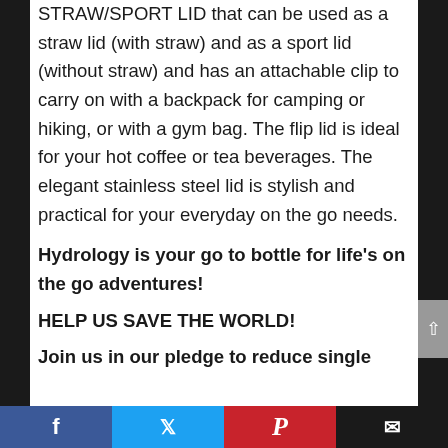STRAW/SPORT LID that can be used as a straw lid (with straw) and as a sport lid (without straw) and has an attachable clip to carry on with a backpack for camping or hiking, or with a gym bag. The flip lid is ideal for your hot coffee or tea beverages. The elegant stainless steel lid is stylish and practical for your everyday on the go needs.
Hydrology is your go to bottle for life’s on the go adventures!
HELP US SAVE THE WORLD!
Join us in our pledge to reduce single